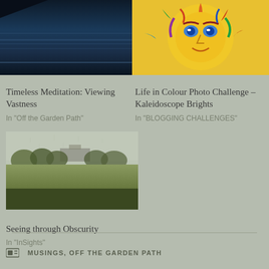[Figure (photo): Dark blue ocean/water scene viewed from above, moody nighttime or stormy atmosphere]
[Figure (illustration): Colorful psychedelic sun face illustration with bright green, yellow, red, blue and purple colors]
Timeless Meditation: Viewing Vastness
In "Off the Garden Path"
Life in Colour Photo Challenge – Kaleidoscope Brights
In "BLOGGING CHALLENGES"
[Figure (photo): Rainy/misty landscape with green fields, trees, and a building in the background, viewed through rain-speckled glass]
Seeing through Obscurity
In "InSights"
MUSINGS, OFF THE GARDEN PATH